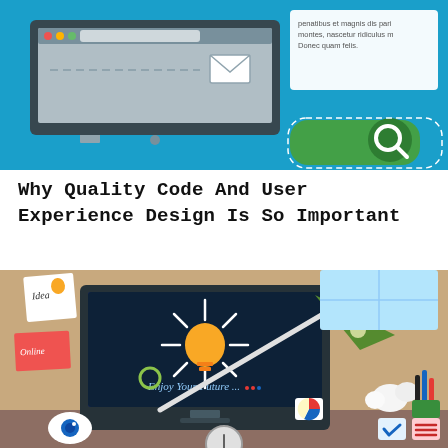[Figure (illustration): Flat design illustration of a computer monitor with email and interface elements on a blue background, with a green search icon (magnifying glass) in the lower right corner and a white text box with lorem ipsum text on the right side.]
Why Quality Code And User Experience Design Is So Important
[Figure (illustration): Flat design illustration of a desk scene with a monitor displaying a lightbulb and the text 'Enjoy Your Future...' on a dark background. The desk has sticky notes labeled 'Idea' and 'Online', a desk lamp, crumpled paper, pencils in a cup, and small icons in the corner. A circular element is partially visible at the bottom center.]